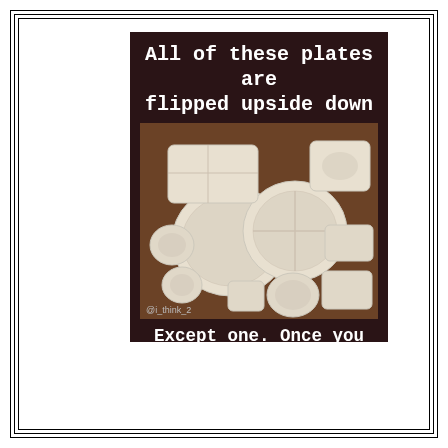[Figure (photo): A meme image with dark brown/maroon background. Top text reads 'All of these plates are flipped upside down'. Center shows a photo of multiple white plates of various shapes (round, divided, rectangular, small bowls) arranged on a surface, all appearing upside down. Bottom text reads 'Except one. Once you see that one, they'll all be right side up'. Watermark '@i_think_2' visible.]